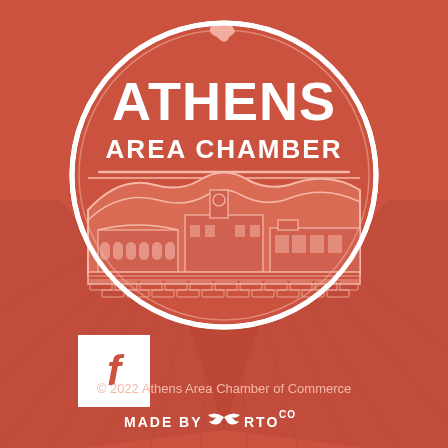[Figure (logo): Athens Area Chamber of Commerce logo — a circular red badge with white text 'ATHENS AREA CHAMBER' and an illustrated cityscape/landscape silhouette inside a circle, shown as a map location pin shape on a red background with radiating rays. A Facebook icon (white square with red 'f') appears in the lower left.]
© 2022 Athens Area Chamber of Commerce
MADE BY RTO CO